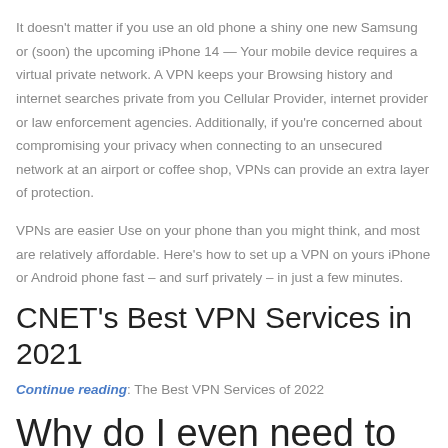It doesn't matter if you use an old phone a shiny one new Samsung or (soon) the upcoming iPhone 14 — Your mobile device requires a virtual private network. A VPN keeps your Browsing history and internet searches private from you Cellular Provider, internet provider or law enforcement agencies. Additionally, if you're concerned about compromising your privacy when connecting to an unsecured network at an airport or coffee shop, VPNs can provide an extra layer of protection.
VPNs are easier Use on your phone than you might think, and most are relatively affordable. Here's how to set up a VPN on yours iPhone or Android phone fast – and surf privately – in just a few minutes.
CNET's Best VPN Services in 2021
Continue reading: The Best VPN Services of 2022
Why do I even need to use a